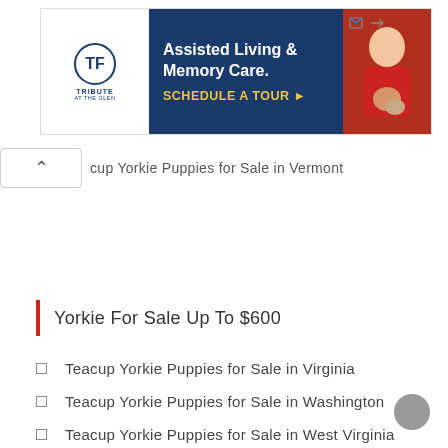[Figure (illustration): Advertisement banner for Tribute at the Glen assisted living and memory care facility with logo on white left side and blue right side with text 'Assisted Living & Memory Care. SCHEDULE A TOUR ▶' and a photo of a woman in red holding a small dog]
cup Yorkie Puppies for Sale in Vermont
Yorkie For Sale Up To $600
Teacup Yorkie Puppies for Sale in Virginia
Teacup Yorkie Puppies for Sale in Washington
Teacup Yorkie Puppies for Sale in West Virginia
Teacup Yorkie Puppies for Sale in Wisconsin
Teacup Yorkie Puppies for Sale in Wyoming